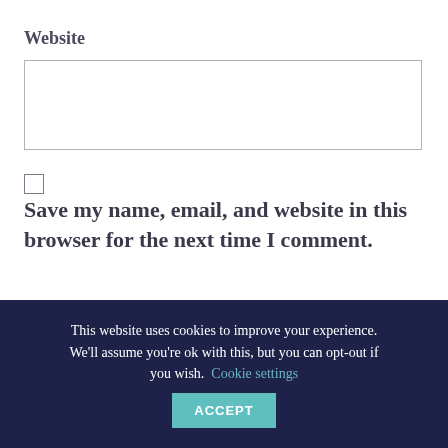Website
Save my name, email, and website in this browser for the next time I comment.
Post Comment
This website uses cookies to improve your experience. We'll assume you're ok with this, but you can opt-out if you wish. Cookie settings ACCEPT